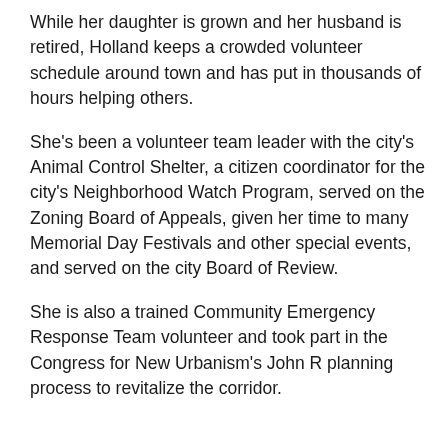While her daughter is grown and her husband is retired, Holland keeps a crowded volunteer schedule around town and has put in thousands of hours helping others.
She's been a volunteer team leader with the city's Animal Control Shelter, a citizen coordinator for the city's Neighborhood Watch Program, served on the Zoning Board of Appeals, given her time to many Memorial Day Festivals and other special events, and served on the city Board of Review.
She is also a trained Community Emergency Response Team volunteer and took part in the Congress for New Urbanism's John R planning process to revitalize the corridor.